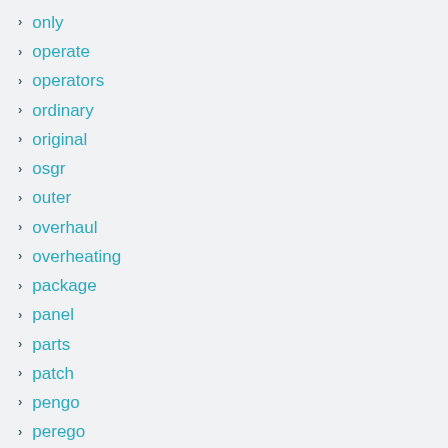only
operate
operators
ordinary
original
osgr
outer
overhaul
overheating
package
panel
parts
patch
pengo
perego
perkins
pilot
piston
planetary